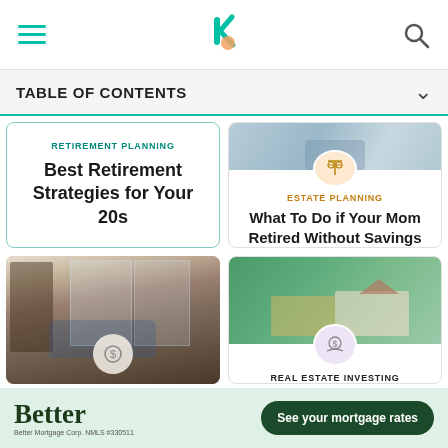TABLE OF CONTENTS
RETIREMENT PLANNING
Best Retirement Strategies for Your 20s
[Figure (photo): Person sitting on blue sofa in a living room with bookshelves and large windows]
[Figure (photo): Hands holding a tablet or phone, with a balance/scale icon overlay; estate planning illustration]
ESTATE PLANNING
What To Do if Your Mom Retired Without Savings
[Figure (photo): Stack of currency bills next to a small model house on a green blurred background; money hand/coin icon overlay]
REAL ESTATE INVESTING
[Figure (advertisement): Better Mortgage advertisement banner with green background, Better logo, and 'See your mortgage rates' button]